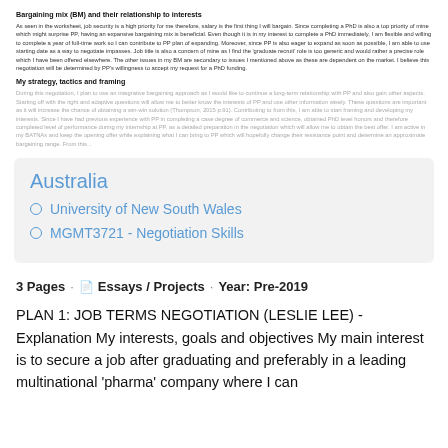Bargaining mix (BM) and their relationship to interests
As seen in the worksheet, job security is a high priority for me therefore, salary is the first thing I will bargain. Since completing a PhD is also a top priority of mine which might surprise PP, having an expansive bargaining mix is beneficial. Even though it is in my interest to complete a PhD immediately, I am flexible and willing to complete a year of full-time work so I can contribute to PP plan of expanding. Moreover, since PP is also eager to expand as soon as possible, I am able to use starting date as a way to negotiate impasses. Job title is also a concern of mine as I find the 'graduate recruit' role is too generic and would rather a precise role which I have been offered elsewhere. The other issues in my BM are secondary to issues I mentioned above as these are dependent on the market. I believe this negotiation will be determined by PP's willingness to accept my request for a PhD funding.
My strategy, tactics and framing
During this negotiation, I plan to use an integrative bargaining approach as I would like to continue a long-term relationship with PP and also gain other aspects. Starting off with the right and adaptive questions will allow me to better know the interests of PP and use other information wisely. These questions are important as it will increase the chance of obtaining a win-win solution (Thompson, 2015 p.91). Contributing to from this, I am able to start framing and developing my interests. Since I have had previous experience with PP in completing a case degree of commerce and science, obtained PhD level honors and therefore completed level of performance during my internship at PP, as a detailed preparation in the negotiation which will allow me to obtain the best offer. I am active in my BATNAs and keep the opening offer while explaining what I can bring to PP which will hopefully change their resistance point and determine an approximate bargaining range. From this...
Australia
University of New South Wales
MGMT3721 - Negotiation Skills
3 Pages · Essays / Projects · Year: Pre-2019
PLAN 1: JOB TERMS NEGOTIATION (LESLIE LEE) - Explanation My interests, goals and objectives My main interest is to secure a job after graduating and preferably in a leading multinational 'pharma' company where I can